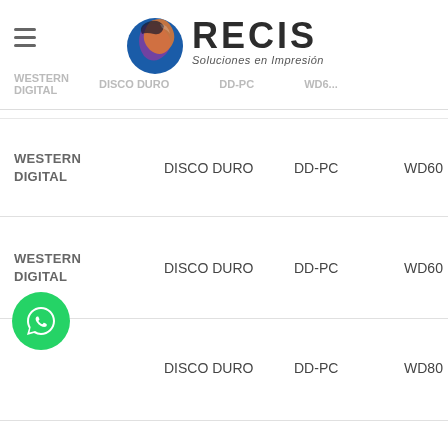[Figure (logo): RECIS Soluciones en Impresion logo with colorful globe icon]
WESTERN DIGITAL  DISCO DURO  DD-PC  WD6...
| Brand | Type | Category | Model |
| --- | --- | --- | --- |
| WESTERN DIGITAL | DISCO DURO | DD-PC | WD60... |
| WESTERN DIGITAL | DISCO DURO | DD-PC | WD60... |
| WESTERN DIGITAL | DISCO DURO | DD-PC | WD80... |